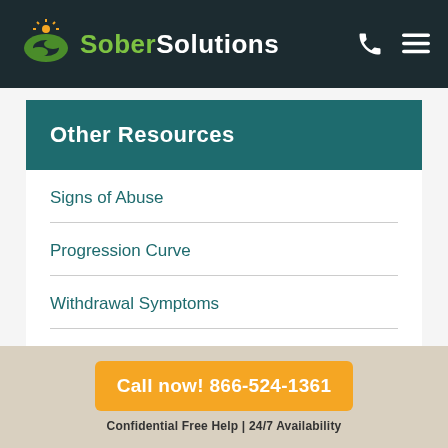Sober Solutions
Other Resources
Signs of Abuse
Progression Curve
Withdrawal Symptoms
Cost of Rehab
Call now! 866-524-1361
Confidential Free Help | 24/7 Availability